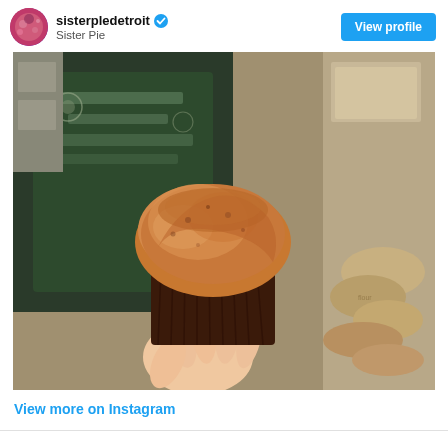sisterpledetroit ✓
Sister Pie
[Figure (photo): A hand holding a golden-brown muffin in a dark brown paper muffin cup, photographed in a bakery setting. In the background is a chalkboard sign and stacks of brown paper bags/flour sacks.]
View more on Instagram